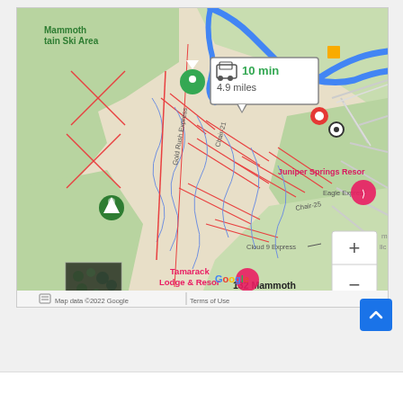[Figure (map): Google Maps screenshot showing a driving route to 132 Mammoth Slopes Drive near Mammoth Mountain Ski Area. Shows a blue highlighted driving route with a callout showing '10 min, 4.9 miles'. Map labels include: Mammoth Mountain Ski Area, Gold Rush Express, Chair-21, Chair-25, Eagle Express, Cloud 9 Express, Juniper Springs Resort, Tamarack Lodge & Resort, 132 Mammoth Slopes Drive. Map includes zoom controls (+/-), a satellite image thumbnail in lower left, and footer showing 'Map data ©2022 Google | Terms of Use'.]
[Figure (other): Blue back-to-top button with upward arrow chevron in bottom right area of page.]